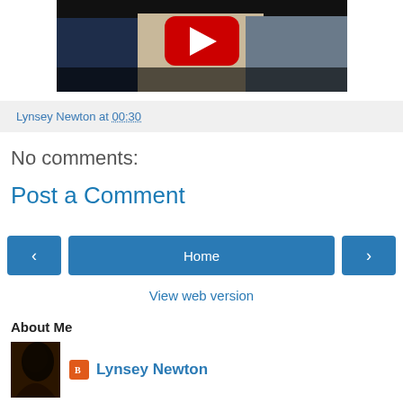[Figure (screenshot): YouTube video thumbnail showing people standing together with a red YouTube play button overlay on a dark background]
Lynsey Newton at 00:30
No comments:
Post a Comment
[Figure (screenshot): Navigation buttons: left arrow button, Home button, right arrow button]
View web version
About Me
Lynsey Newton